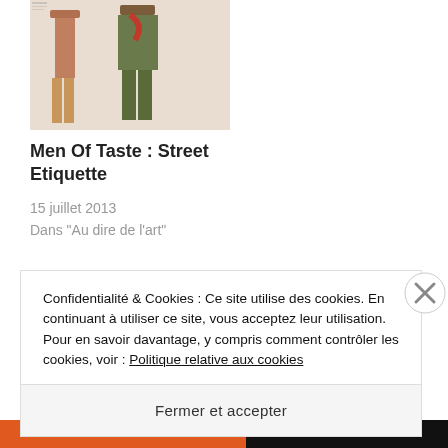[Figure (photo): Fashion photo showing two men in stylish street outfits]
Men Of Taste : Street Etiquette
15 juillet 2013
Dans "Au dire de l'art"
[Figure (illustration): Decorative circular element with yellow and black leaf/floral pattern]
Confidentialité & Cookies : Ce site utilise des cookies. En continuant à utiliser ce site, vous acceptez leur utilisation.
Pour en savoir davantage, y compris comment contrôler les cookies, voir : Politique relative aux cookies
Fermer et accepter